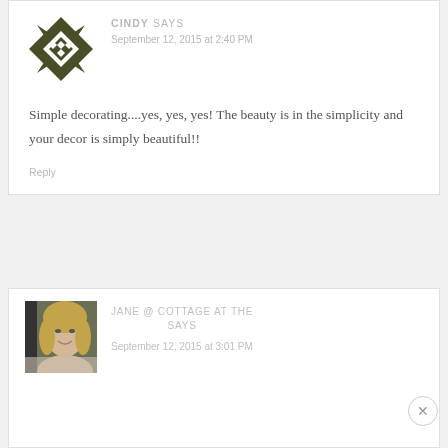[Figure (illustration): Geometric snowflake-like avatar icon in dark olive green]
CINDY SAYS
September 12, 2015 at 2:40 PM
Simple decorating....yes, yes, yes! The beauty is in the simplicity and your decor is simply beautiful!!
Reply
[Figure (photo): Profile photo of a blonde woman smiling, partially visible]
JANE @ COTTAGE AT THE SAYS
September 12, 2015 at 3:01 PM